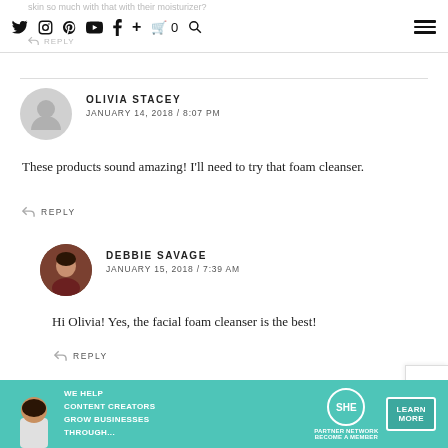skin so much with that with their moisturizer?
↩ REPLY
OLIVIA STACEY
JANUARY 14, 2018 / 8:07 PM
These products sound amazing! I'll need to try that foam cleanser.
↩ REPLY
DEBBIE SAVAGE
JANUARY 15, 2018 / 7:39 AM
Hi Olivia! Yes, the facial foam cleanser is the best!
↩ REPLY
[Figure (infographic): SHE Partner Network advertisement banner: 'We help content creators grow businesses through... — SHE Partner Network, Become a Member — Learn More button']